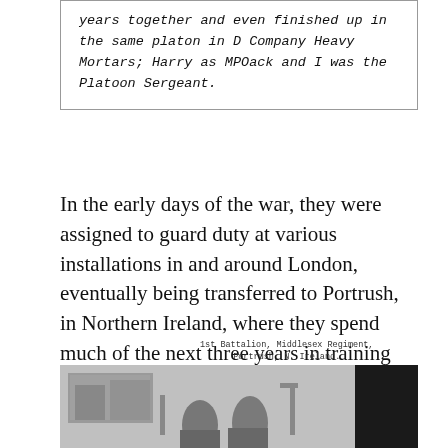years together and even finished up in the same platon in D Company Heavy Mortars; Harry as MPOack and I was the Platoon Sergeant.
In the early days of the war, they were assigned to guard duty at various installations in and around London, eventually being transferred to Portrush, in Northern Ireland, where they spend much of the next three years in training for the eventual invasion of mainland Europe..
[Figure (photo): Black and white photograph taken at 1st Battalion, Middlesex Regiment, Portrush, N. Ireland, 1940. Shows soldiers and buildings in the background.]
1st Battalion, Middlesex Regiment, Portrush, N. Ireland. 1940.